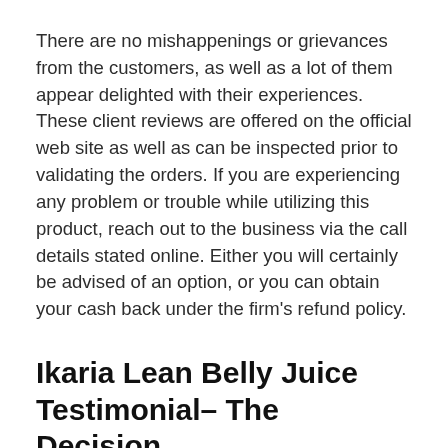There are no mishappenings or grievances from the customers, as well as a lot of them appear delighted with their experiences. These client reviews are offered on the official web site as well as can be inspected prior to validating the orders. If you are experiencing any problem or trouble while utilizing this product, reach out to the business via the call details stated online. Either you will certainly be advised of an option, or you can obtain your cash back under the firm's refund policy.
Ikaria Lean Belly Juice Testimonial– The Decision